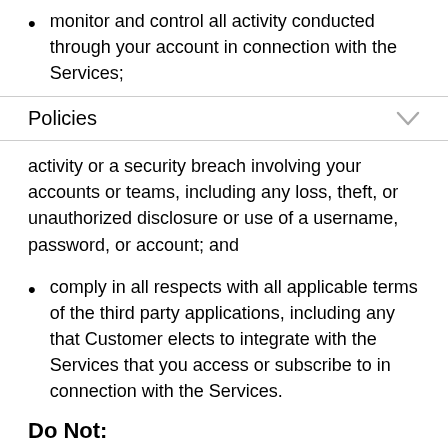monitor and control all activity conducted through your account in connection with the Services;
Policies
activity or a security breach involving your accounts or teams, including any loss, theft, or unauthorized disclosure or use of a username, password, or account; and
comply in all respects with all applicable terms of the third party applications, including any that Customer elects to integrate with the Services that you access or subscribe to in connection with the Services.
Do Not: